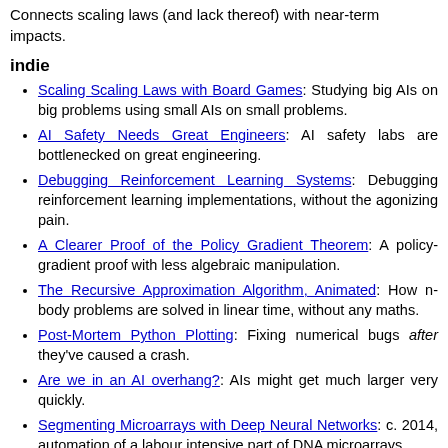Connects scaling laws (and lack thereof) with near-term impacts.
indie
Scaling Scaling Laws with Board Games: Studying big AIs on big problems using small AIs on small problems.
AI Safety Needs Great Engineers: AI safety labs are bottlenecked on great engineering.
Debugging Reinforcement Learning Systems: Debugging reinforcement learning implementations, without the agonizing pain.
A Clearer Proof of the Policy Gradient Theorem: A policy-gradient proof with less algebraic manipulation.
The Recursive Approximation Algorithm, Animated: How n-body problems are solved in linear time, without any maths.
Post-Mortem Python Plotting: Fixing numerical bugs after they've caused a crash.
Are we in an AI overhang?: AIs might get much larger very quickly.
Segmenting Microarrays with Deep Neural Networks: c. 2014, automation of a labour intensive part of DNA microarrays.